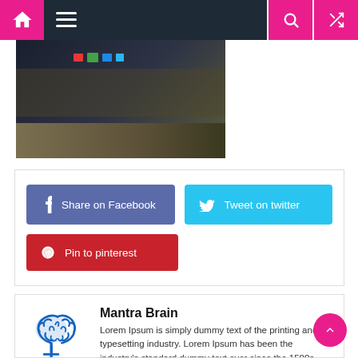Navigation bar with home, menu, search, and random icons
[Figure (photo): Dark image showing airplane interior with colored status lights visible at top]
[Figure (infographic): Social sharing buttons: Share on Facebook (blue-purple), Tweet on twitter (cyan), Pin to pinterest (red)]
[Figure (infographic): Author box with blue brain icon, name Mantra Brain, and Lorem Ipsum bio text]
Mantra Brain
Lorem Ipsum is simply dummy text of the printing and typesetting industry. Lorem Ipsum has been the industry's standard dummy text ever since the 1500s, when an